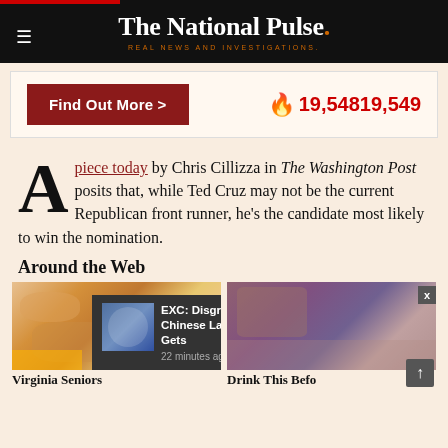The National Pulse. REAL NEWS AND INVESTIGATIONS.
[Figure (other): Find Out More button with fire icon and view count 19,54819,549]
A piece today by Chris Cillizza in The Washington Post posits that, while Ted Cruz may not be the current Republican front runner, he's the candidate most likely to win the nomination.
Around the Web
[Figure (photo): Photo of elderly person's hands / skin, with a notification popup overlay: EXC: Disgraced Chinese Lab Partner Gets — 22 minutes ago]
[Figure (photo): Photo of person, partially visible]
Virginia Seniors
Drink This Befo